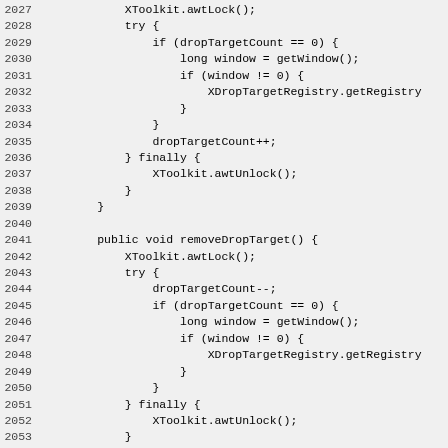[Figure (other): Java source code snippet showing addDropTarget and removeDropTarget methods, lines 2027-2056]